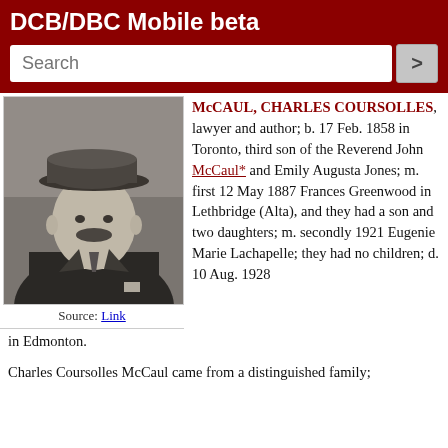DCB/DBC Mobile beta
[Figure (photo): Black and white portrait photograph of Charles Coursolles McCaul, a man wearing a flat cap and suit with a mustache.]
Source: Link
McCAUL, CHARLES COURSOLLES, lawyer and author; b. 17 Feb. 1858 in Toronto, third son of the Reverend John McCaul* and Emily Augusta Jones; m. first 12 May 1887 Frances Greenwood in Lethbridge (Alta), and they had a son and two daughters; m. secondly 1921 Eugenie Marie Lachapelle; they had no children; d. 10 Aug. 1928 in Edmonton.
Charles Coursolles McCaul came from a distinguished family;